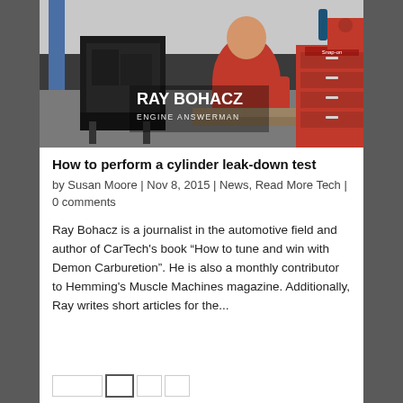[Figure (photo): Ray Bohacz standing in a workshop/garage setting next to a car engine on a stand and a large red Snap-on tool chest. He is wearing a red polo shirt. White text overlay reads 'RAY BOHACZ' and below it 'ENGINE ANSWERMAN'.]
How to perform a cylinder leak-down test
by Susan Moore | Nov 8, 2015 | News, Read More Tech | 0 comments
Ray Bohacz is a journalist in the automotive field and author of CarTech's book “How to tune and win with Demon Carburetion”. He is also a monthly contributor to Hemming's Muscle Machines magazine. Additionally, Ray writes short articles for the...